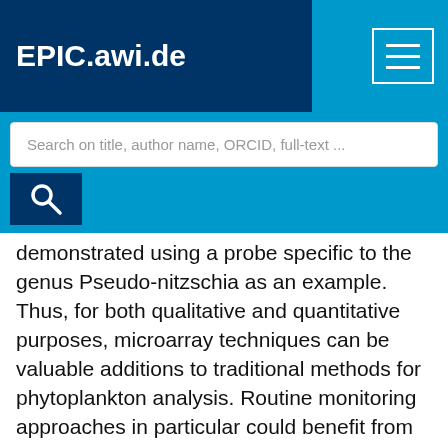EPIC.awi.de
Search on title, author name, ORCID, full-text ...
demonstrated using a probe specific to the genus Pseudo-nitzschia as an example. Thus, for both qualitative and quantitative purposes, microarray techniques can be valuable additions to traditional methods for phytoplankton analysis. Routine monitoring approaches in particular could benefit from